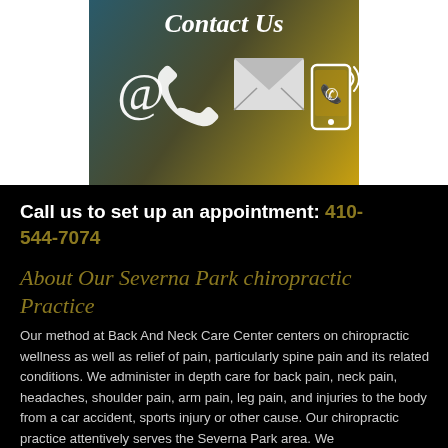[Figure (illustration): Contact Us banner image with dark teal-to-gold gradient background, showing icons: @ symbol, phone handset, envelope/mail, and mobile phone with signal waves. Title text 'Contact Us' in white italic at top.]
Call us to set up an appointment: 410-544-7074
About Our Severna Park chiropractic Practice
Our method at Back And Neck Care Center centers on chiropractic wellness as well as relief of pain, particularly spine pain and its related conditions. We administer in depth care for back pain, neck pain, headaches, shoulder pain, arm pain, leg pain, and injuries to the body from a car accident, sports injury or other cause. Our chiropractic practice attentively serves the Severna Park area. We